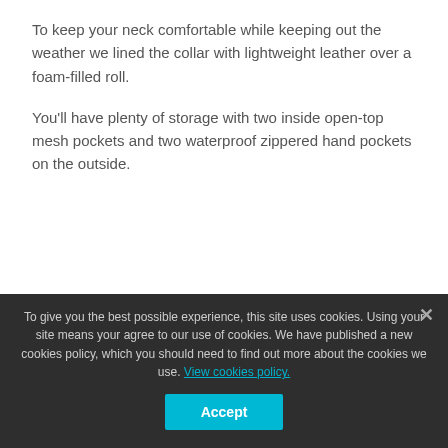To keep your neck comfortable while keeping out the weather we lined the collar with lightweight leather over a foam-filled roll.
You'll have plenty of storage with two inside open-top mesh pockets and two waterproof zippered hand pockets on the outside.
To give you the best possible experience, this site uses cookies. Using your site means your agree to our use of cookies. We have published a new cookies policy, which you should need to find out more about the cookies we use. View cookies policy.